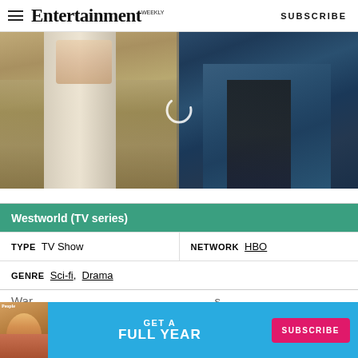Entertainment Weekly — SUBSCRIBE
[Figure (photo): Split image showing two characters from Westworld TV series: left side shows a figure with long platinum/white hair in ornate clothing; right side shows a figure in a dark teal blazer]
| Westworld (TV series) |
| --- |
| TYPE  TV Show | NETWORK  HBO |
| GENRE  Sci-fi,  Drama |  |
[Figure (infographic): Advertisement banner: People magazine - GET A FULL YEAR - SUBSCRIBE button]
War...    ...s from...